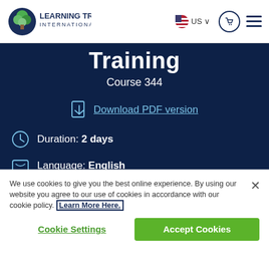[Figure (logo): Learning Tree International logo with green tree icon]
Training
Course 344
Download PDF version
Duration: 2 days
Language: English
11 NASBA CPE Credits (live, in-class training only)
We use cookies to give you the best online experience. By using our website you agree to our use of cookies in accordance with our cookie policy. Learn More Here.
Cookie Settings
Accept Cookies